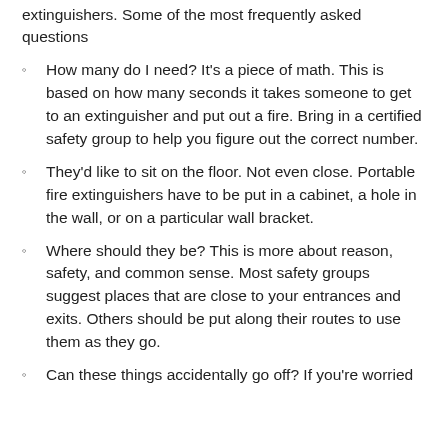extinguishers. Some of the most frequently asked questions
How many do I need? It's a piece of math. This is based on how many seconds it takes someone to get to an extinguisher and put out a fire. Bring in a certified safety group to help you figure out the correct number.
They'd like to sit on the floor. Not even close. Portable fire extinguishers have to be put in a cabinet, a hole in the wall, or on a particular wall bracket.
Where should they be? This is more about reason, safety, and common sense. Most safety groups suggest places that are close to your entrances and exits. Others should be put along their routes to use them as they go.
Can these things accidentally go off? If you're worried